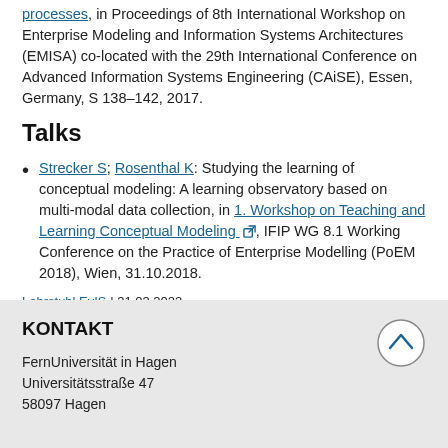processes, in Proceedings of 8th International Workshop on Enterprise Modeling and Information Systems Architectures (EMISA) co-located with the 29th International Conference on Advanced Information Systems Engineering (CAiSE), Essen, Germany, S 138–142, 2017.
Talks
Strecker S; Rosenthal K: Studying the learning of conceptual modeling: A learning observatory based on multi-modal data collection, in 1. Workshop on Teaching and Learning Conceptual Modeling, IFIP WG 8.1 Working Conference on the Practice of Enterprise Modelling (PoEM 2018), Wien, 31.10.2018.
Lehrstuhl EvIS | 31.03.2022
KONTAKT
FernUniversität in Hagen
Universitätsstraße 47
58097 Hagen